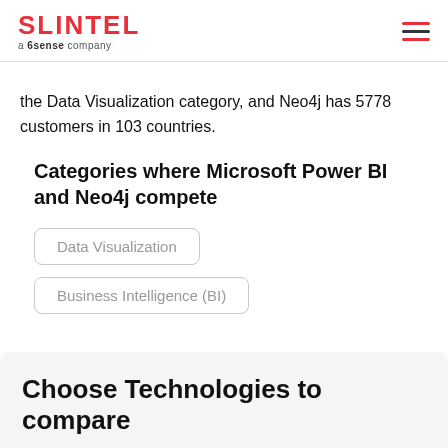SLINTEL a 6sense company
the Data Visualization category, and Neo4j has 5778 customers in 103 countries.
Categories where Microsoft Power BI and Neo4j compete
Data Visualization
Business Intelligence (BI)
Choose Technologies to compare